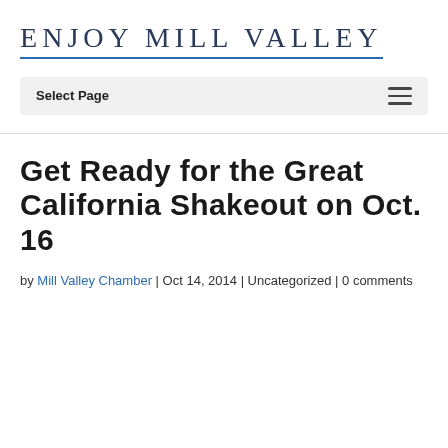ENJOY MILL VALLEY
Select Page
Get Ready for the Great California Shakeout on Oct. 16
by Mill Valley Chamber | Oct 14, 2014 | Uncategorized | 0 comments